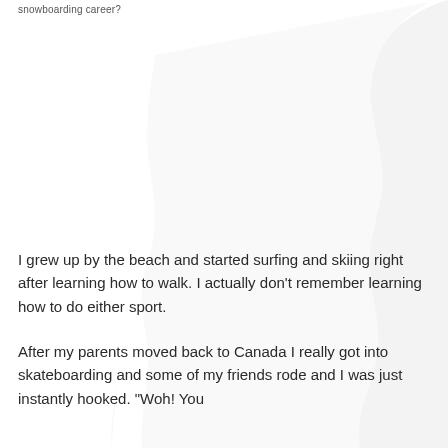snowboarding career?
[Figure (illustration): Large decorative silhouette shape in light gray, occupying most of the upper and right portion of the page, suggesting a person or abstract form.]
I grew up by the beach and started surfing and skiing right after learning how to walk. I actually don't remember learning how to do either sport.
After my parents moved back to Canada I really got into skateboarding and some of my friends rode and I was just instantly hooked. "Woh! You